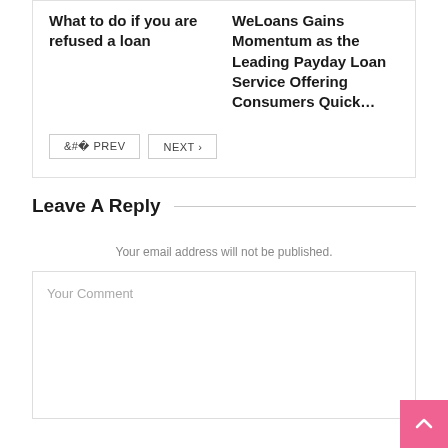What to do if you are refused a loan
WeLoans Gains Momentum as the Leading Payday Loan Service Offering Consumers Quick…
< PREV   NEXT >
Leave A Reply
Your email address will not be published.
Your Comment